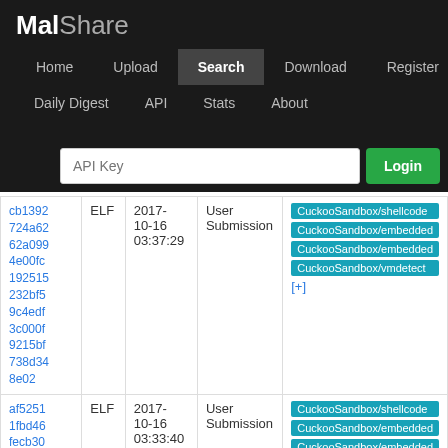MalShare
Home | Upload | Search | Download | Register | Daily Digest | API | Stats | About
| Hash | Type | Date | Source | Tags |
| --- | --- | --- | --- | --- |
| cb1392724a6262a0994e00fc192515232bf59c4edf3c000f9215bf738d348e02 | ELF | 2017-10-16 03:37:29 | User Submission | CuckooSandbox/shellcode CuckooSandbox/embedded CuckooSandbox/embedded CuckooSandbox/vmdetect [+] |
| af52511fbd46fecb30 | ELF | 2017-10-16 03:33:40 | User Submission | CuckooSandbox/shellcode CuckooSandbox/embedded CuckooSandbox/embedded |